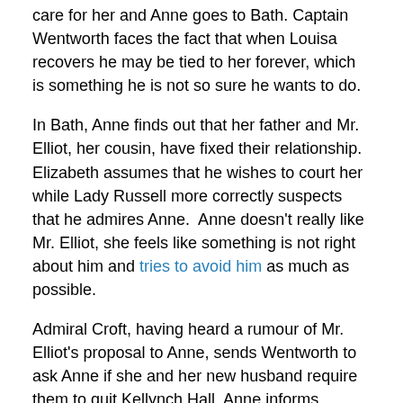care for her and Anne goes to Bath. Captain Wentworth faces the fact that when Louisa recovers he may be tied to her forever, which is something he is not so sure he wants to do.
In Bath, Anne finds out that her father and Mr. Elliot, her cousin, have fixed their relationship. Elizabeth assumes that he wishes to court her while Lady Russell more correctly suspects that he admires Anne.  Anne doesn't really like Mr. Elliot, she feels like something is not right about him and tries to avoid him as much as possible.
Admiral Croft, having heard a rumour of Mr. Elliot's proposal to Anne, sends Wentworth to ask Anne if she and her new husband require them to quit Kellynch Hall. Anne informs Wentworth that Admiral Croft has been  misinformed.